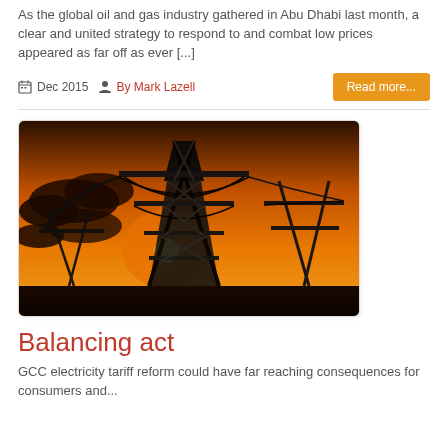As the global oil and gas industry gathered in Abu Dhabi last month, a clear and united strategy to respond to and combat low prices appeared as far off as ever [...]
Dec 2015  By Mark Lazell
[Figure (photo): Silhouette of electricity transmission pylons against an orange sunset sky with clouds]
Balancing act
GCC electricity tariff reform could have far reaching consequences for consumers and...